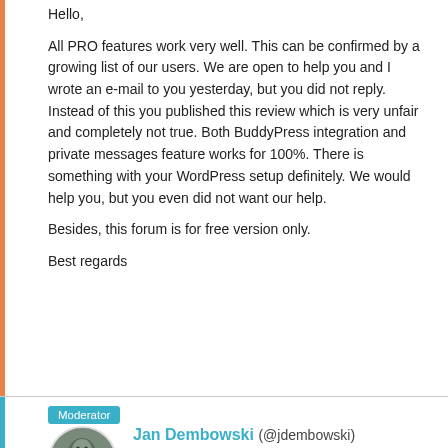Hello,

All PRO features work very well. This can be confirmed by a growing list of our users. We are open to help you and I wrote an e-mail to you yesterday, but you did not reply. Instead of this you published this review which is very unfair and completely not true. Both BuddyPress integration and private messages feature works for 100%. There is something with your WordPress setup definitely. We would help you, but you even did not want our help.

Besides, this forum is for free version only.

Best regards
Moderator
Jan Dembowski (@jdembowski)
Forum Moderator and Brute Squad
5 years, 10 months ago
@peterpan1956 Why didn't you reply to the email?